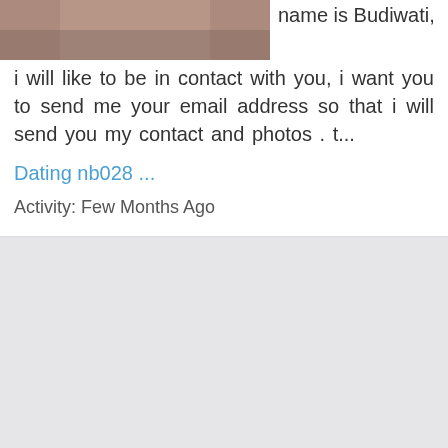[Figure (photo): Partial photo of a person, cropped at top of card]
name is Budiwati, i will like to be in contact with you, i want you to send me your email address so that i will send you my contact and photos . t...
Dating nb028 ...
Activity: Few Months Ago